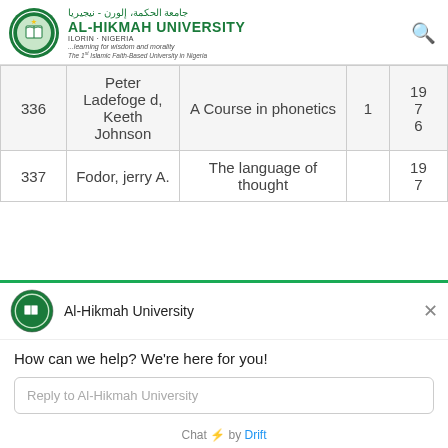Al-Hikmah University – Ilorin Nigeria. Learning for wisdom and morality. The 1st Islamic Faith-Based University in Nigeria
|  |  | Title |  | Year |
| --- | --- | --- | --- | --- |
| 336 | Peter Ladefoged, Keeth Johnson | A Course in phonetics | 1 | 1976 |
| 337 | Fodor, jerry A. | The language of thought |  | 197 |
[Figure (screenshot): Al-Hikmah University chat popup widget with logo, greeting text, reply input box, and Drift branding]
How can we help? We're here for you!
Reply to Al-Hikmah University
Chat ⚡ by Drift